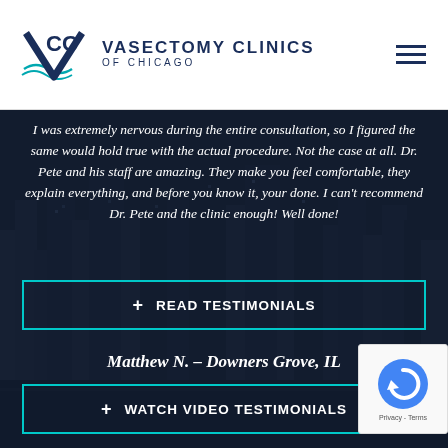[Figure (logo): VCC Vasectomy Clinics of Chicago logo with teal wave and V shape]
[Figure (photo): Dark city skyline background of Chicago with tall buildings at dusk]
I was extremely nervous during the entire consultation, so I figured the same would hold true with the actual procedure. Not the case at all. Dr. Pete and his staff are amazing. They make you feel comfortable, they explain everything, and before you know it, your done. I can't recommend Dr. Pete and the clinic enough! Well done!
Matthew N.  –  Downers Grove, IL
+ READ TESTIMONIALS
+ WATCH VIDEO TESTIMONIALS